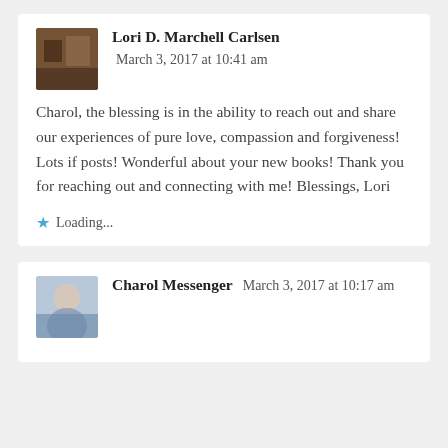Lori D. Marchell Carlsen   March 3, 2017 at 10:41 am
Charol, the blessing is in the ability to reach out and share our experiences of pure love, compassion and forgiveness! Lots if posts! Wonderful about your new books! Thank you for reaching out and connecting with me! Blessings, Lori
Loading...
Charol Messenger   March 3, 2017 at 10:17 am